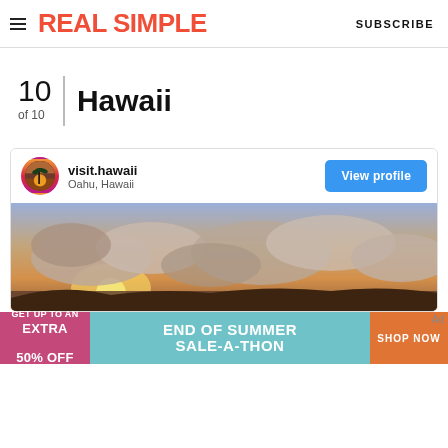REAL SIMPLE   SUBSCRIBE
10
of 10
Hawaii
[Figure (screenshot): Instagram-style profile card for visit.hawaii, Oahu, Hawaii, with a View profile button and a sunset/cloudy sky photo banner]
[Figure (infographic): Advertisement banner: GET UP TO AN EXTRA 50% OFF | END OF SUMMER SALE-A-THON | SHOP NOW]